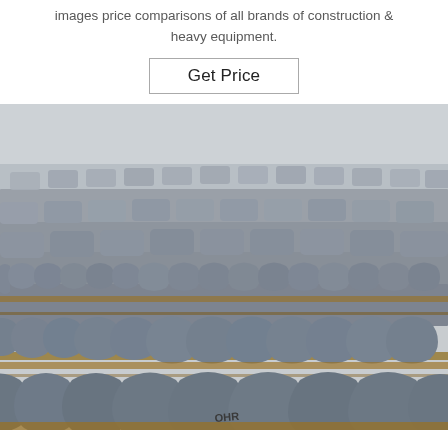images price comparisons of all brands of construction & heavy equipment.
Get Price
[Figure (photo): Rows of interlocking concrete paving blocks (paver bricks) arranged on wooden pallets in a factory or yard setting. The blocks have a wavy/interlocking shape, are grey in color, and 'OHR' is visible stamped on one block in the foreground.]